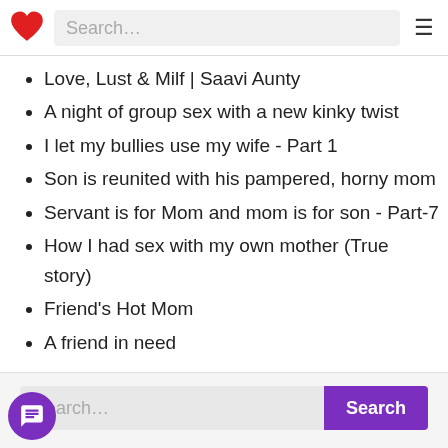Search...
Love, Lust & Milf | Saavi Aunty
A night of group sex with a new kinky twist
I let my bullies use my wife - Part 1
Son is reunited with his pampered, horny mom
Servant is for Mom and mom is for son - Part-7
How I had sex with my own mother (True story)
Friend's Hot Mom
A friend in need
gs
2017 2018 Aunt aunty blowjob brother Brother